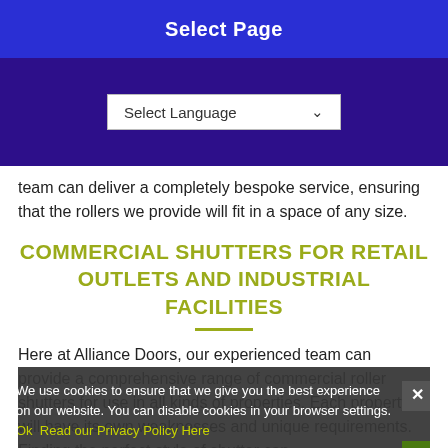Select Page
Select Language
team can deliver a completely bespoke service, ensuring that the rollers we provide will fit in a space of any size.
COMMERCIAL SHUTTERS FOR RETAIL OUTLETS AND INDUSTRIAL FACILITIES
Here at Alliance Doors, our experienced team can provide a comprehensive range of commercial roller shutters for use in all kinds of properties. Each property will have its own weaknesses and unique requirements. Finding the perfect style of shutter can
We use cookies to ensure that we give you the best experience on our website. You can disable cookies in your browser settings. Ok  Read our Privacy Policy Here